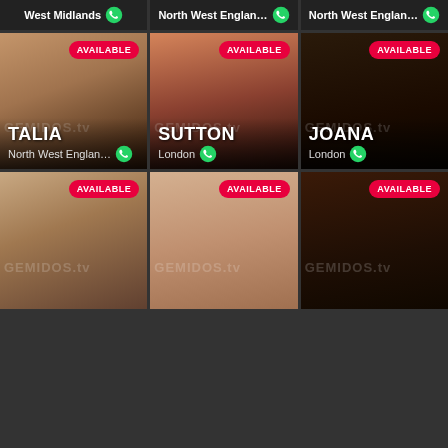[Figure (photo): Top bar showing three location labels: West Midlands, North West England, North West England with WhatsApp icons]
[Figure (photo): Photo card of TALIA, North West England, marked AVAILABLE]
[Figure (photo): Photo card of SUTTON, London, marked AVAILABLE]
[Figure (photo): Photo card of JOANA, London, marked AVAILABLE]
[Figure (photo): Bottom left photo card marked AVAILABLE]
[Figure (photo): Bottom center photo card marked AVAILABLE]
[Figure (photo): Bottom right photo card marked AVAILABLE]